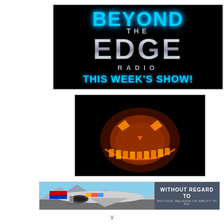[Figure (logo): Beyond The Edge Radio logo on black background with cyan glowing text reading BEYOND, THE, EDGE, RADIO, and THIS WEEK'S SHOW! in cyan]
[Figure (photo): Glowing jack-o-lantern with sinister grin on black background, orange and yellow light emanating from carved face]
[Figure (photo): Airline cargo loading scene with airplane on tarmac, next to a gray banner reading WITHOUT REGARD TO POLITICS, RELIGION OR ABILITY TO PAY]